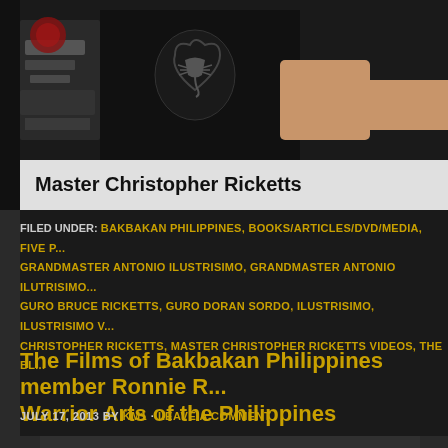[Figure (photo): Dark photo showing Master Christopher Ricketts wearing a black scorpion t-shirt, with a chainsaw visible on the left side. A name bar at the bottom reads 'Master Christopher Ricketts'.]
FILED UNDER: BAKBAKAN PHILIPPINES, BOOKS/ARTICLES/DVD/MEDIA, FIVE P... GRANDMASTER ANTONIO ILUSTRISIMO, GRANDMASTER ANTONIO ILUTRISIMO... GURO BRUCE RICKETTS, GURO DORAN SORDO, ILUSTRISIMO, ILUSTRISIMO V... CHRISTOPHER RICKETTS, MASTER CHRISTOPHER RICKETTS VIDEOS, THE BL...
The Films of Bakbakan Philippines member Ronnie R... Warrior Arts of the Philippines
JULY 17, 2013 BY KM1 · LEAVE A COMMENT
[Figure (photo): Black and white photo showing a metal weapon (stick or blade) against a dark background.]